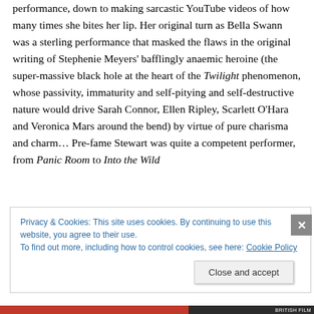performance, down to making sarcastic YouTube videos of how many times she bites her lip. Her original turn as Bella Swann was a sterling performance that masked the flaws in the original writing of Stephenie Meyers' bafflingly anaemic heroine (the super-massive black hole at the heart of the Twilight phenomenon, whose passivity, immaturity and self-pitying and self-destructive nature would drive Sarah Connor, Ellen Ripley, Scarlett O'Hara and Veronica Mars around the bend) by virtue of pure charisma and charm… Pre-fame Stewart was quite a competent performer, from Panic Room to Into the Wild
Privacy & Cookies: This site uses cookies. By continuing to use this website, you agree to their use.
To find out more, including how to control cookies, see here: Cookie Policy
Close and accept